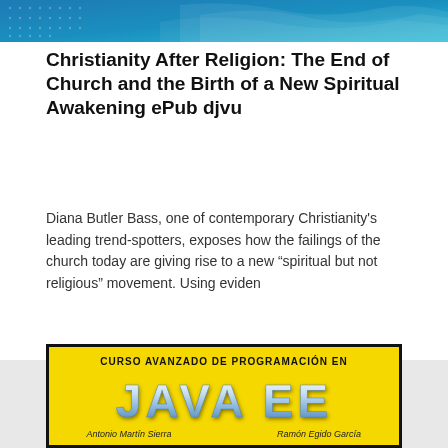[Figure (illustration): Top banner with blue gradient background and wave design]
Christianity After Religion: The End of Church and the Birth of a New Spiritual Awakening ePub djvu
Diana Butler Bass, one of contemporary Christianity's leading trend-spotters, exposes how the failings of the church today are giving rise to a new “spiritual but not religious” movement. Using eviden
Read more
[Figure (illustration): Book cover for Curso Avanzado de Programacion en Java EE by Antonio Martin Sierra and Ramon Egido Garcia, yellow background with large stylized JAVA EE text]